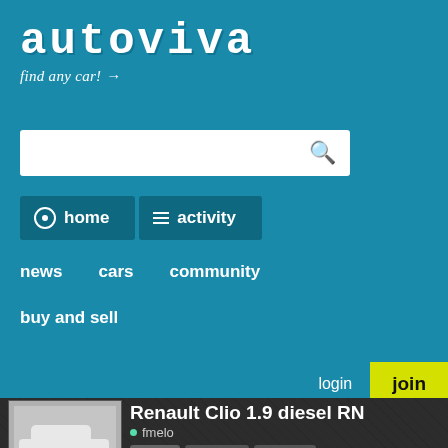[Figure (screenshot): Autoviva website header with teal background, logo, search bar, navigation buttons (home, activity), sub-nav links (news, cars, community, buy and sell), login/join buttons]
Renault Clio 1.9 diesel RN
fmelo
like  action  share
| my car | photos 0 | videos 0 | specs |
| --- | --- | --- | --- |
all
gears
updates
just